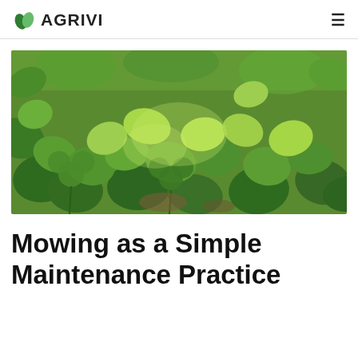AGRIVI
[Figure (photo): Close-up photograph of green clover and mixed leafy plants growing densely on the ground, with bright sunlight illuminating the leaves from above.]
Mowing as a Simple Maintenance Practice